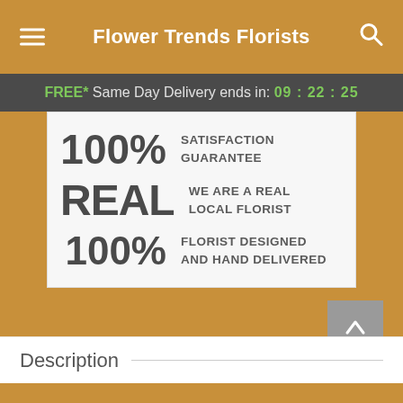Flower Trends Florists
FREE* Same Day Delivery ends in: 09:22:25
100% SATISFACTION GUARANTEE
REAL WE ARE A REAL LOCAL FLORIST
100% FLORIST DESIGNED AND HAND DELIVERED
Description
Start Order